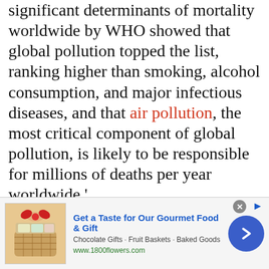significant determinants of mortality worldwide by WHO showed that global pollution topped the list, ranking higher than smoking, alcohol consumption, and major infectious diseases, and that air pollution, the most critical component of global pollution, is likely to be responsible for millions of deaths per year worldwide.'
'A better characterisation of the liver exposome is expected to improve prevention
[Figure (other): Advertisement banner for 1800flowers.com: 'Get a Taste for Our Gourmet Food & Gift' with an image of a gift basket with red bow, subtitle 'Chocolate Gifts - Fruit Baskets - Baked Goods', URL www.1800flowers.com, and a blue circular arrow button.]